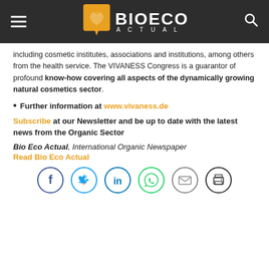BIOECO ACTUAL
including cosmetic institutes, associations and institutions, among others from the health service. The VIVANESS Congress is a guarantor of profound know-how covering all aspects of the dynamically growing natural cosmetics sector.
Further information at www.vivaness.de
Subscribe at our Newsletter and be up to date with the latest news from the Organic Sector
Bio Eco Actual, International Organic Newspaper
Read Bio Eco Actual
[Figure (other): Social media sharing icons: Facebook, Twitter, LinkedIn, WhatsApp, Email, Print]